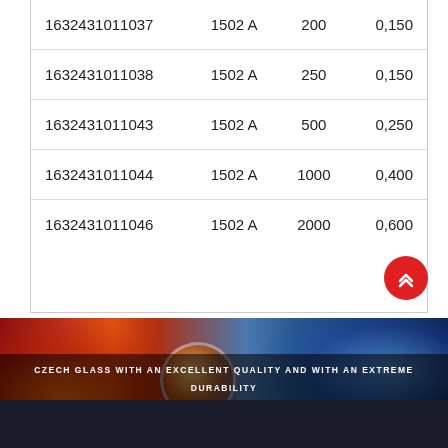| 1632431011037 | 1502 A | 200 | 0,150 |
| 1632431011038 | 1502 A | 250 | 0,150 |
| 1632431011043 | 1502 A | 500 | 0,250 |
| 1632431011044 | 1502 A | 1000 | 0,400 |
| 1632431011046 | 1502 A | 2000 | 0,600 |
[Figure (photo): Banner image showing fire/ice glass/lens visual with text 'CZECH GLASS WITH AN EXCELLENT QUALITY AND WITH AN EXTREME DURABILITY' and a red scroll-to-top button]